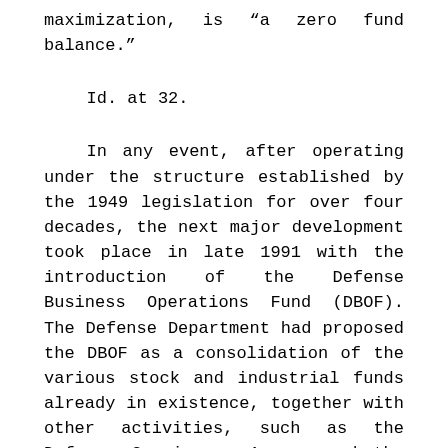maximization, is "a zero fund balance."
Id. at 32.
In any event, after operating under the structure established by the 1949 legislation for over four decades, the next major development took place in late 1991 with the introduction of the Defense Business Operations Fund (DBOF). The Defense Department had proposed the DBOF as a consolidation of the various stock and industrial funds already in existence, together with other activities, such as the Defense Commissary Agency and the Defense Finance and Accounting Service, which would be converted to revolving fund status